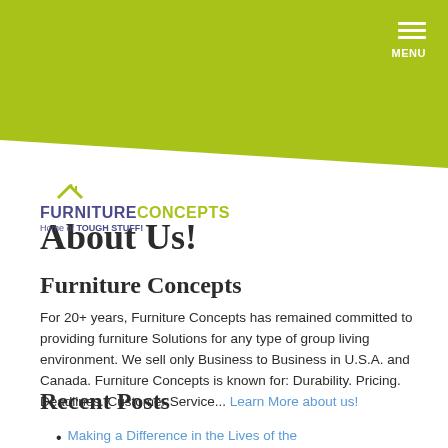MENU
[Figure (logo): Furniture Concepts logo with house icon and tagline 'Home of TOUGH STUFF!']
About Us!
Furniture Concepts
For 20+ years, Furniture Concepts has remained committed to providing furniture Solutions for any type of group living environment. We sell only Business to Business in U.S.A. and Canada. Furniture Concepts is known for: Durability. Pricing. Deadlines. Customer Service... Learn More about us!
Recent Posts
Making a Difference in the Lives of the